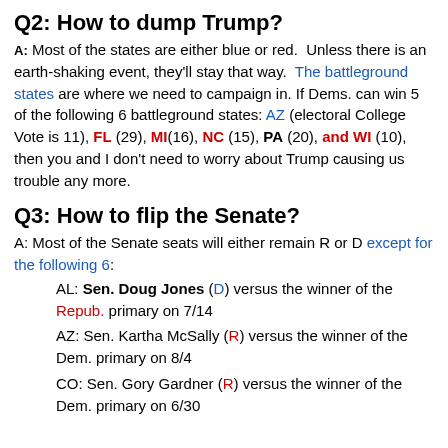Q2: How to dump Trump?
A: Most of the states are either blue or red. Unless there is an earth-shaking event, they'll stay that way. The battleground states are where we need to campaign in. If Dems. can win 5 of the following 6 battleground states: AZ (electoral College Vote is 11), FL (29), MI(16), NC (15), PA (20), and WI (10), then you and I don't need to worry about Trump causing us trouble any more.
Q3: How to flip the Senate?
A: Most of the Senate seats will either remain R or D except for the following 6:
AL: Sen. Doug Jones (D) versus the winner of the Repub. primary on 7/14
AZ: Sen. Kartha McSally (R) versus the winner of the Dem. primary on 8/4
CO: Sen. Gory Gardner (R) versus the winner of the Dem. primary on 6/30